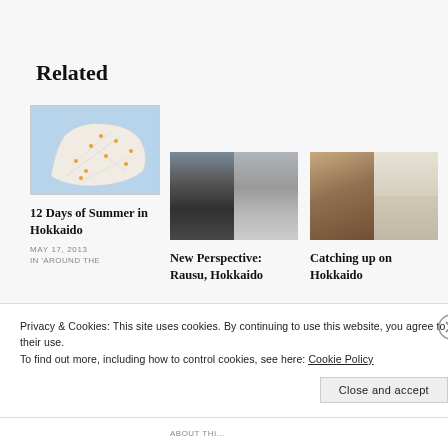Related
[Figure (map): Map image showing Hokkaido island with roads and location markers on a blue-gray background]
12 Days of Summer in Hokkaido
MAY 17, 2013
IN 'AROUND THE
[Figure (photo): Black and white split photo: left half shows a seascape/harbor with a lighthouse, right half is a gray gradient]
New Perspective: Rausu, Hokkaido
[Figure (photo): Collage of two photos: left shows an outdoor wooden structure at dusk, right shows bowls of food/desserts]
Catching up on Hokkaido
Privacy & Cookies: This site uses cookies. By continuing to use this website, you agree to their use.
To find out more, including how to control cookies, see here: Cookie Policy
Close and accept